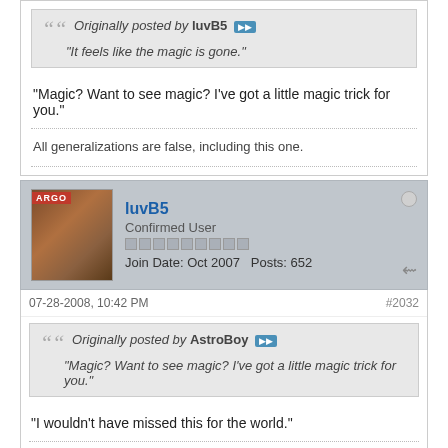Originally posted by luvB5
"It feels like the magic is gone."
"Magic? Want to see magic? I've got a little magic trick for you."
All generalizations are false, including this one.
luvB5
Confirmed User
Join Date: Oct 2007   Posts: 652
07-28-2008, 10:42 PM
#2032
Originally posted by AstroBoy
"Magic? Want to see magic? I've got a little magic trick for you."
"I wouldn't have missed this for the world."